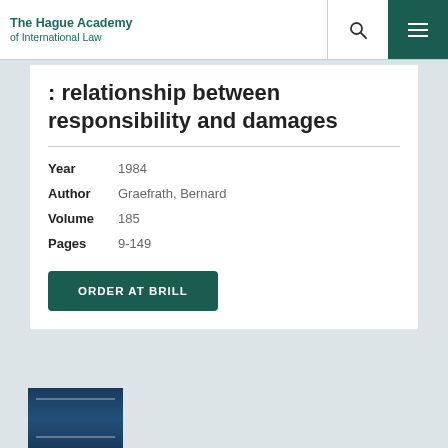The Hague Academy of International Law
: relationship between responsibility and damages
Year   1984
Author   Graefrath, Bernard
Volume   185
Pages   9-149
ORDER AT BRILL